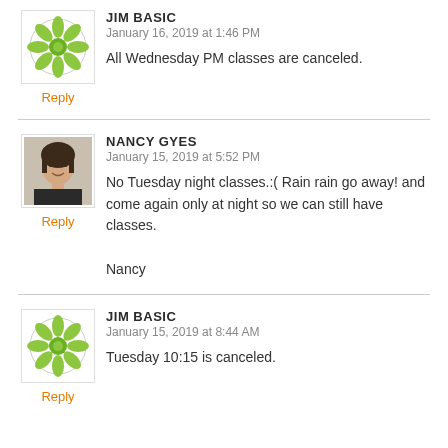[Figure (illustration): Green decorative avatar icon for Jim Basic (lattice/flower pattern)]
JIM BASIC
January 16, 2019 at 1:46 PM
Reply
All Wednesday PM classes are canceled.
[Figure (photo): Profile photo of Nancy Gyes, a woman with dark hair]
NANCY GYES
January 15, 2019 at 5:52 PM
Reply
No Tuesday night classes.:( Rain rain go away! and come again only at night so we can still have classes.

Nancy
[Figure (illustration): Green decorative avatar icon for Jim Basic (lattice/flower pattern)]
JIM BASIC
January 15, 2019 at 8:44 AM
Reply
Tuesday 10:15 is canceled.